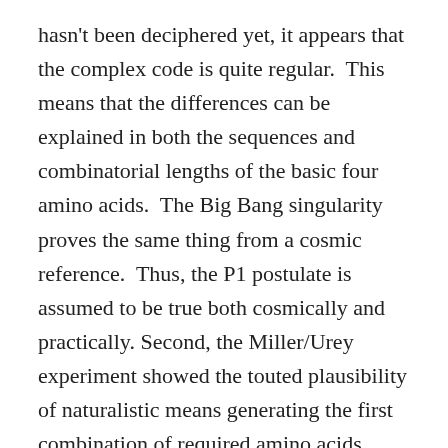hasn't been deciphered yet, it appears that the complex code is quite regular.  This means that the differences can be explained in both the sequences and combinatorial lengths of the basic four amino acids.  The Big Bang singularity proves the same thing from a cosmic reference.  Thus, the P1 postulate is assumed to be true both cosmically and practically. Second, the Miller/Urey experiment showed the touted plausibility of naturalistic means generating the first combination of required amino acids from a primordial chemical mix.  Although only a small percentage of components were generated, they were generated within a relatively short period of time.  Therefore, it was assumed that given enough time, the experiment would indeed have completed the